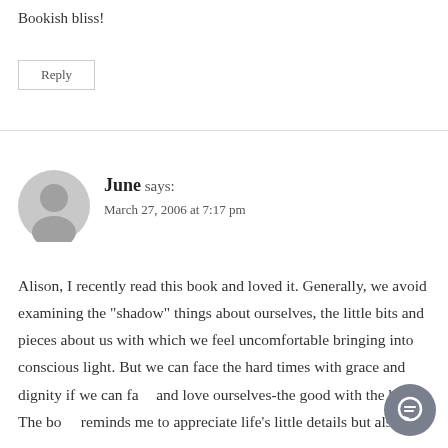Bookish bliss!
Reply
June says:
March 27, 2006 at 7:17 pm
Alison, I recently read this book and loved it. Generally, we avoid examining the "shadow" things about ourselves, the little bits and pieces about us with which we feel uncomfortable bringing into conscious light. But we can face the hard times with grace and dignity if we can face and love ourselves-the good with the bad. The book reminds me to appreciate life's little details but also to